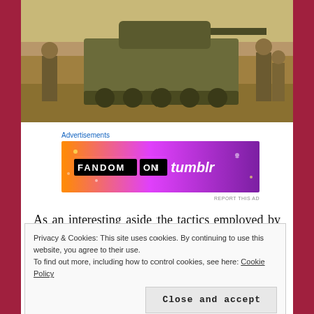[Figure (photo): Military photo showing an armored vehicle/tank with soldiers standing around it, outdoor setting with brown/sandy tones]
Advertisements
[Figure (screenshot): Advertisement banner for Fandom on Tumblr with colorful orange to purple gradient background]
As an interesting aside the tactics employed by the South African Defence Forces were based on tactics inspired by Third Reich Wehrmacht Field-Marshall General Erwin
Privacy & Cookies: This site uses cookies. By continuing to use this website, you agree to their use.
To find out more, including how to control cookies, see here: Cookie Policy
Close and accept